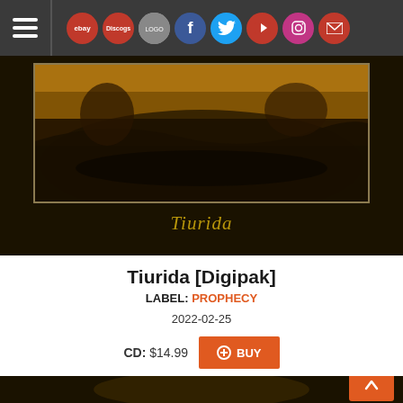Navigation bar with hamburger menu, eBay, Discogs, and social media icons
[Figure (photo): Album cover artwork for Tiurida — dark landscape with warm golden tones, trees and water at dusk]
Tiurida [Digipak]
LABEL: PROPHECY
2022-02-25
CD: $14.99
MP3 Album: $7.99
[Figure (illustration): Dark decorative illustration with golden ornamental design on dark brown background, partial view]